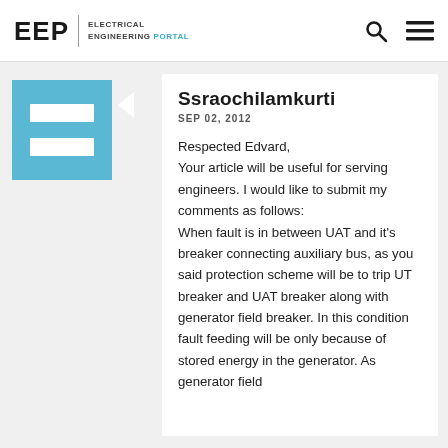EEP | ELECTRICAL ENGINEERING PORTAL
Ssraochilamkurti
SEP 02, 2012
Respected Edvard,
Your article will be useful for serving engineers. I would like to submit my comments as follows:
When fault is in between UAT and it's breaker connecting auxiliary bus, as you said protection scheme will be to trip UT breaker and UAT breaker along with generator field breaker. In this condition fault feeding will be only because of stored energy in the generator. As generator field